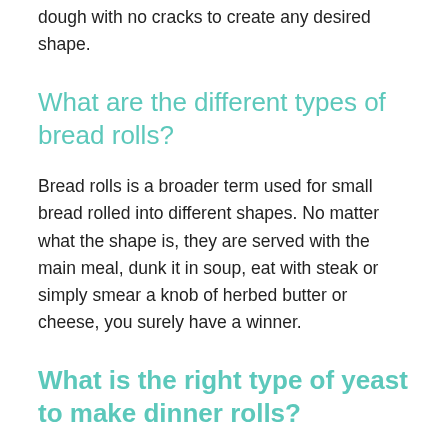dough with no cracks to create any desired shape.
What are the different types of bread rolls?
Bread rolls is a broader term used for small bread rolled into different shapes. No matter what the shape is, they are served with the main meal, dunk it in soup, eat with steak or simply smear a knob of herbed butter or cheese, you surely have a winner.
What is the right type of yeast to make dinner rolls?
Coming back to dinner rolls, they are a good